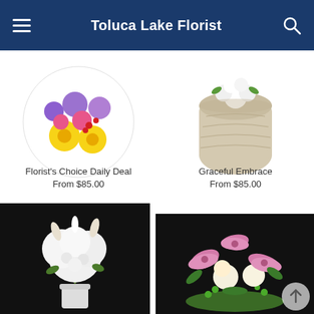Toluca Lake Florist
[Figure (photo): Circular arrangement of colorful flowers including yellow daisies, pink roses, red berries, and purple flowers on white background]
Florist's Choice Daily Deal
From $85.00
[Figure (photo): White floral arrangement in a rustic stone/ceramic pot with greenery on white background]
Graceful Embrace
From $85.00
[Figure (photo): White hydrangea and lily bouquet in white vase against black background]
[Figure (photo): Pink stargazer lilies, white roses, and green berries bouquet against black background]